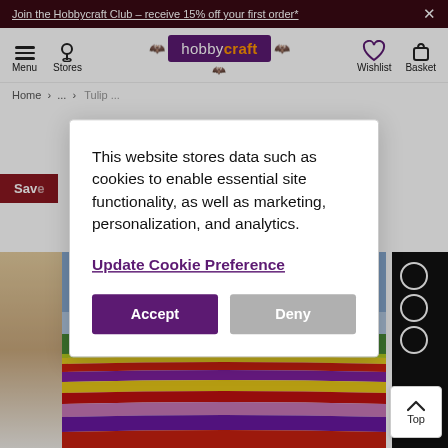Join the Hobbycraft Club - receive 15% off your first order*
[Figure (screenshot): Hobbycraft website navigation bar with hamburger menu, store locator icon, hobbycraft logo with Halloween bat decorations, wishlist heart icon, and basket icon]
Home ... Tulip ...
Save
[Figure (photo): Cookie consent modal dialog overlaying the Hobbycraft website product page. Modal contains text about cookie usage and buttons to Accept or Deny.]
This website stores data such as cookies to enable essential site functionality, as well as marketing, personalization, and analytics.
Update Cookie Preference
Accept
Deny
[Figure (photo): Tulip field product image showing colorful rows of tulips in red, yellow, purple, and pink with a windmill in the background under a cloudy sky]